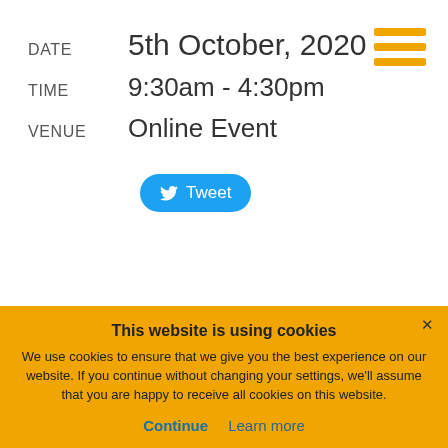DATE  5th October, 2020
TIME  9:30am - 4:30pm
VENUE  Online Event
[Figure (illustration): Hamburger menu icon: three horizontal orange bars, top-right corner]
[Figure (illustration): Twitter Tweet button: blue rounded pill button with Twitter bird logo and 'Tweet' text]
This website is using cookies
We use cookies to ensure that we give you the best experience on our website. If you continue without changing your settings, we'll assume that you are happy to receive all cookies on this website.
Continue  Learn more